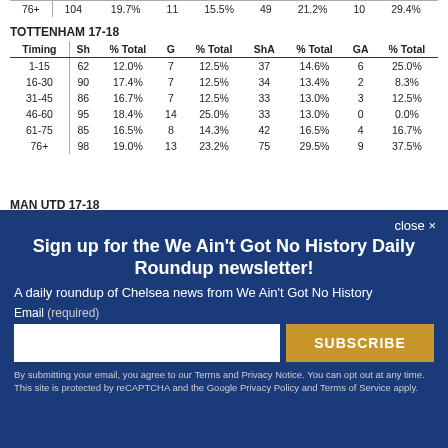| Timing | Sh | % Total | G | % Total | ShA | % Total | GA | % Total |
| --- | --- | --- | --- | --- | --- | --- | --- | --- |
| 76+ | 104 | 19.7% | 11 | 15.5% | 49 | 21.2% | 10 | 29.4% |
TOTTENHAM 17-18
| Timing | Sh | % Total | G | % Total | ShA | % Total | GA | % Total |
| --- | --- | --- | --- | --- | --- | --- | --- | --- |
| 1-15 | 62 | 12.0% | 7 | 12.5% | 37 | 14.6% | 6 | 25.0% |
| 16-30 | 90 | 17.4% | 7 | 12.5% | 34 | 13.4% | 2 | 8.3% |
| 31-45 | 86 | 16.7% | 7 | 12.5% | 33 | 13.0% | 3 | 12.5% |
| 46-60 | 95 | 18.4% | 14 | 25.0% | 33 | 13.0% | 0 | 0.0% |
| 61-75 | 85 | 16.5% | 8 | 14.3% | 42 | 16.5% | 4 | 16.7% |
| 76+ | 98 | 19.0% | 13 | 23.2% | 75 | 29.5% | 9 | 37.5% |
MAN UTD 17-18
| Timing | Sh | % Total | G | % Total | ShA | % Total | GA | % Total |
| --- | --- | --- | --- | --- | --- | --- | --- | --- |
close ×
Sign up for the We Ain't Got No History Daily Roundup newsletter!
A daily roundup of Chelsea news from We Ain't Got No History
Email (required)
SUBSCRIBE
By submitting your email, you agree to our Terms and Privacy Notice. You can opt out at any time. This site is protected by reCAPTCHA and the Google Privacy Policy and Terms of Service apply.